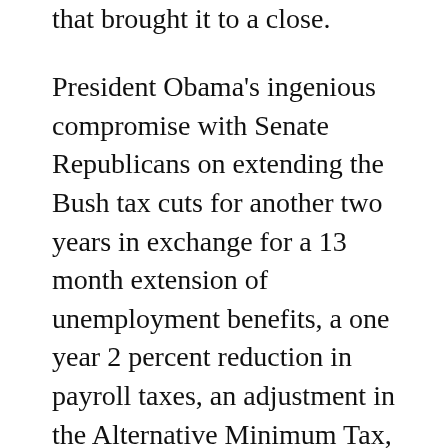that brought it to a close.
President Obama's ingenious compromise with Senate Republicans on extending the Bush tax cuts for another two years in exchange for a 13 month extension of unemployment benefits, a one year 2 percent reduction in payroll taxes, an adjustment in the Alternative Minimum Tax, preservation of the Child Tax Credit, an enhancement of the Earned Income Tax Credit, and continuation of the America Opportunity Tax Credit, will bring relief to millions of Americans and increase the disposable income of